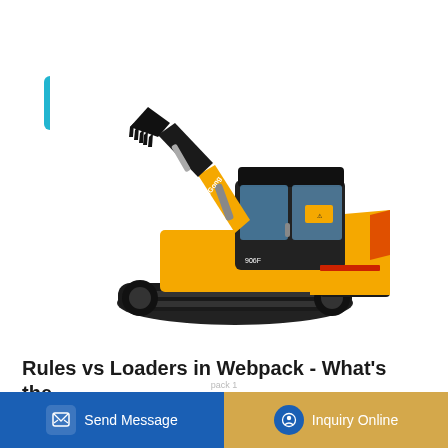[Figure (other): Cyan/teal 'Learn More' button]
[Figure (photo): LiuGong yellow tracked excavator (crawler excavator) on white background, side/front-angled view showing boom, arm, bucket, cab, and undercarriage tracks.]
Rules vs Loaders in Webpack - What's the Difference
[Figure (other): Bottom action bar with two buttons: blue 'Send Message' button on the left and gold/amber 'Inquiry Online' button on the right, each with icons.]